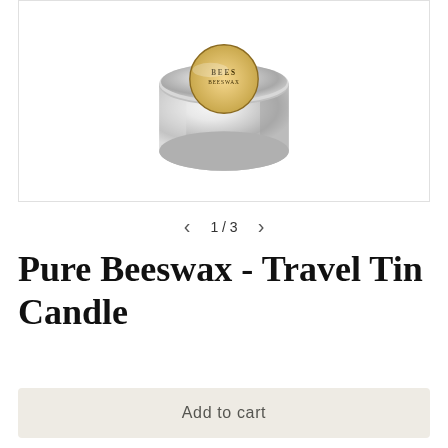[Figure (photo): A silver/chrome travel tin candle with a circular label on top, viewed from a slightly elevated angle. The tin is round and metallic with a shiny chrome finish.]
1 / 3
Pure Beeswax - Travel Tin Candle
Add to cart